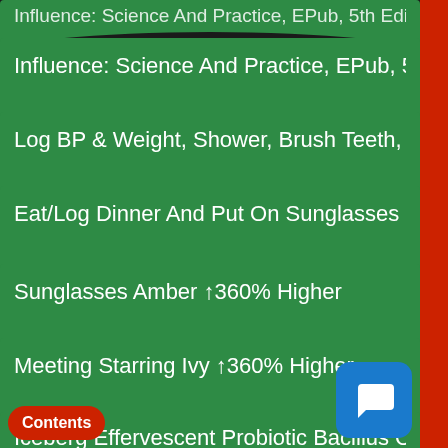Influence: Science And Practice, EPub, 5th Edit…
Log BP & Weight, Shower, Brush Teeth, Make B…
Eat/Log Dinner And Put On Sunglasses ↑370%
Sunglasses Amber ↑360% Higher
Meeting Starring Ivy ↑360% Higher
Iceberg Effervescent Probiotic Bacillus C…